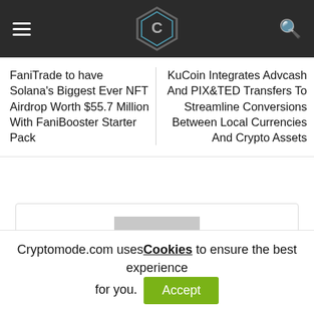Cryptomode logo with hamburger menu and search icon
FaniTrade to have Solana's Biggest Ever NFT Airdrop Worth $55.7 Million With FaniBooster Starter Pack
KuCoin Integrates Advcash And PIX&TED Transfers To Streamline Conversions Between Local Currencies And Crypto Assets
[Figure (illustration): Author avatar placeholder — grey square with white silhouette of a person]
Amaury Reynolds
Cryptomode.com uses Cookies to ensure the best experience for you. Accept